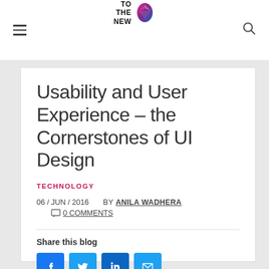TO THE NEW [logo]
Usability and User Experience – the Cornerstones of UI Design
TECHNOLOGY
06 / JUN / 2016   BY ANILA WADHERA   0 COMMENTS
Share this blog
[Figure (infographic): Social share buttons: Facebook, Twitter, LinkedIn, Email]